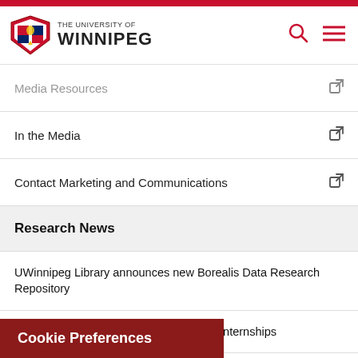[Figure (logo): The University of Winnipeg logo with shield crest and text]
Media Resources
In the Media
Contact Marketing and Communications
Research News
UWinnipeg Library announces new Borealis Data Research Repository
UWinnipeg eclipses $1 million in Mitacs internships
SSHRC funding helps History prof fill gendered gap in Mennonite history
Over $4 million in SSHRC grants enables UWinnipeg res...
Cookie Preferences